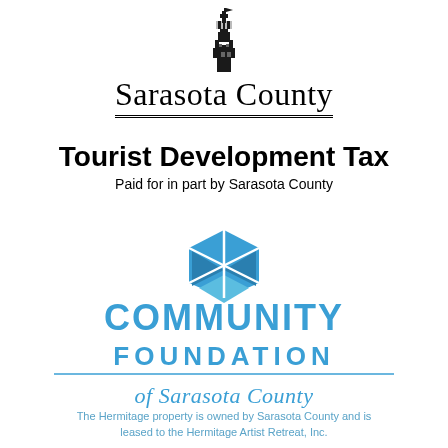[Figure (logo): Sarasota County logo with courthouse tower icon above the text 'Sarasota County' with double underline]
Tourist Development Tax
Paid for in part by Sarasota County
[Figure (logo): Community Foundation of Sarasota County logo: geometric blue diamond/shield shape above 'COMMUNITY FOUNDATION' in large blue letters, horizontal blue line, then 'of Sarasota County' in blue serif text]
The Hermitage property is owned by Sarasota County and is leased to the Hermitage Artist Retreat, Inc.